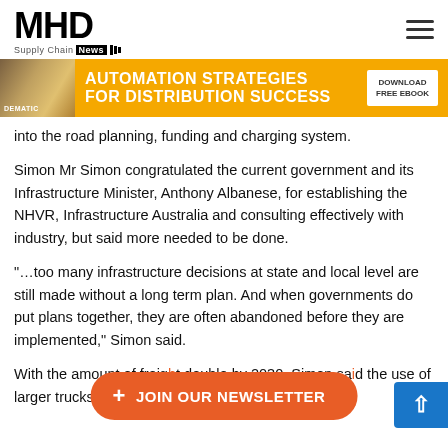MHD Supply Chain News
[Figure (screenshot): Dematic advertisement banner: AUTOMATION STRATEGIES FOR DISTRIBUTION SUCCESS — DOWNLOAD FREE EBOOK]
into the road planning, funding and charging system.
Simon Mr Simon congratulated the current government and its Infrastructure Minister, Anthony Albanese, for establishing the NHVR, Infrastructure Australia and consulting effectively with industry, but said more needed to be done.
"…too many infrastructure decisions at state and local level are still made without a long term plan. And when governments do put plans together, they are often abandoned before they are implemented," Simon said.
With the amount of freight … double by 2030, Simon said the use of larger trucks was